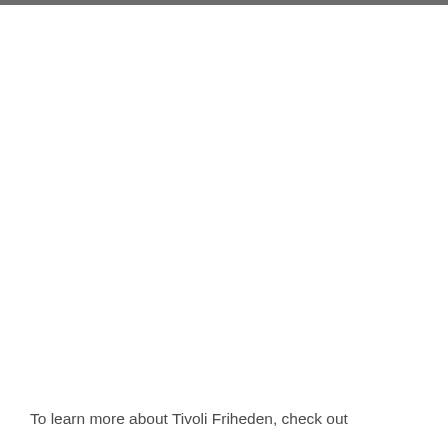To learn more about Tivoli Friheden, check out